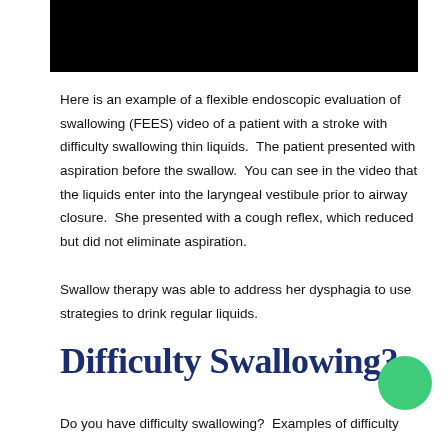[Figure (photo): Black rectangle representing a redacted or blank video frame of a FEES (flexible endoscopic evaluation of swallowing) video]
Here is an example of a flexible endoscopic evaluation of swallowing (FEES) video of a patient with a stroke with difficulty swallowing thin liquids.  The patient presented with aspiration before the swallow.  You can see in the video that the liquids enter into the laryngeal vestibule prior to airway closure.  She presented with a cough reflex, which reduced but did not eliminate aspiration.
Swallow therapy was able to address her dysphagia to use strategies to drink regular liquids.
Difficulty Swallowing?
Do you have difficulty swallowing?  Examples of difficulty